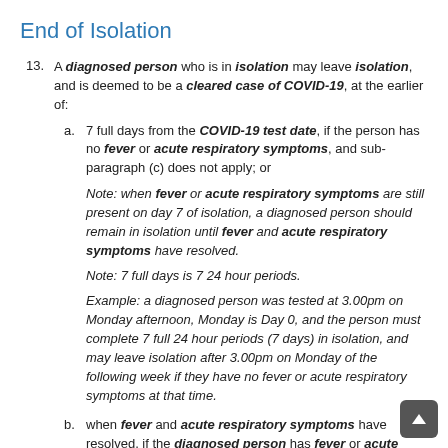End of Isolation
13. A diagnosed person who is in isolation may leave isolation, and is deemed to be a cleared case of COVID-19, at the earlier of:
a. 7 full days from the COVID-19 test date, if the person has no fever or acute respiratory symptoms, and sub-paragraph (c) does not apply; or
Note: when fever or acute respiratory symptoms are still present on day 7 of isolation, a diagnosed person should remain in isolation until fever and acute respiratory symptoms have resolved.
Note: 7 full days is 7 24 hour periods.
Example: a diagnosed person was tested at 3.00pm on Monday afternoon, Monday is Day 0, and the person must complete 7 full 24 hour periods (7 days) in isolation, and may leave isolation after 3.00pm on Monday of the following week if they have no fever or acute respiratory symptoms at that time.
b. when fever and acute respiratory symptoms have resolved, if the diagnosed person has fever or acute respiratory symptoms on Day 7 of isolation; or